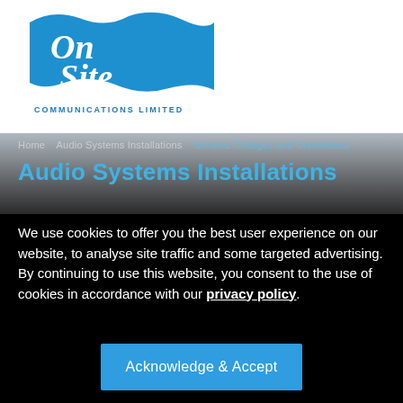[Figure (logo): On Site Communications Limited logo - blue wave/banner shape with stylized script text 'On Site' and 'COMMUNICATIONS LIMITED' below in blue]
Home   Audio Systems Installations   Schools Colleges and Universities
Audio Systems Installations
We use cookies to offer you the best user experience on our website, to analyse site traffic and some targeted advertising. By continuing to use this website, you consent to the use of cookies in accordance with our privacy policy.
Acknowledge & Accept